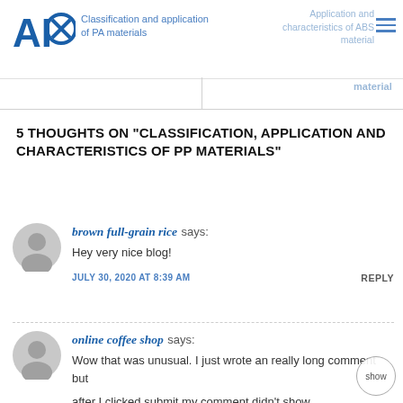AIXI | Classification and application of PA materials | Application and characteristics of ABS material
5 THOUGHTS ON "CLASSIFICATION, APPLICATION AND CHARACTERISTICS OF PP MATERIALS"
brown full-grain rice says:
Hey very nice blog!

JULY 30, 2020 AT 8:39 AM    REPLY
online coffee shop says:
Wow that was unusual. I just wrote an really long comment but after I clicked submit my comment didn't show up. Grrrr…